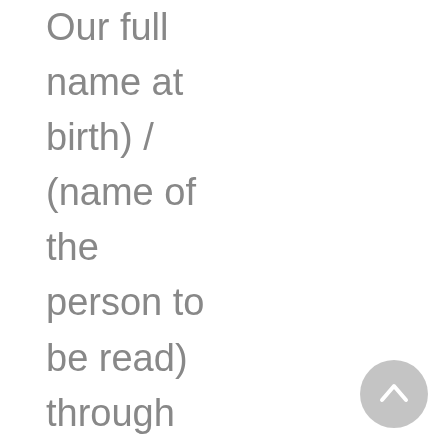Our full name at birth) / (name of the person to be read) through the eyes of the Lords of the Records

And enable me to share the wisdom and
[Figure (other): A circular scroll-to-top button, grey colored, positioned at the bottom right of the page.]